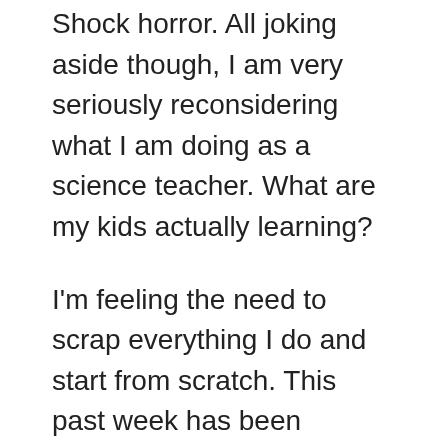Shock horror. All joking aside though, I am very seriously reconsidering what I am doing as a science teacher. What are my kids actually learning?
I'm feeling the need to scrap everything I do and start from scratch. This past week has been somewhat soul shaking (a little dramatic, maybe?) for me. I may be in the midst of a yet another teacher existential crisis.
New additions to my closet and a glass of wine are helping me weather this crisis tonight. I have a new coat! This Madewell City Grid Coat was on